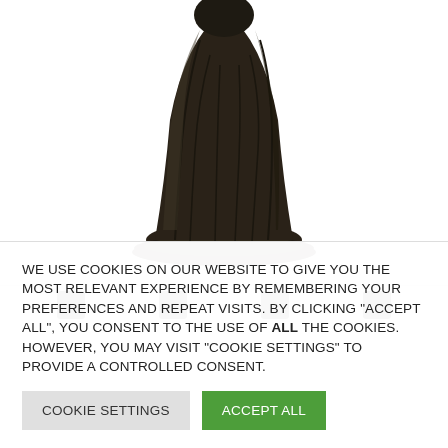[Figure (photo): A dark bronze sculpture/statue shown from the torso down to its round base, photographed against a white background. The figure wears flowing robes and stands on a circular stepped base.]
We use cookies on our website to give you the most relevant experience by remembering your preferences and repeat visits. By clicking "Accept All", you consent to the use of ALL the cookies. However, you may visit "Cookie Settings" to provide a controlled consent.
Cookie Settings
Accept All